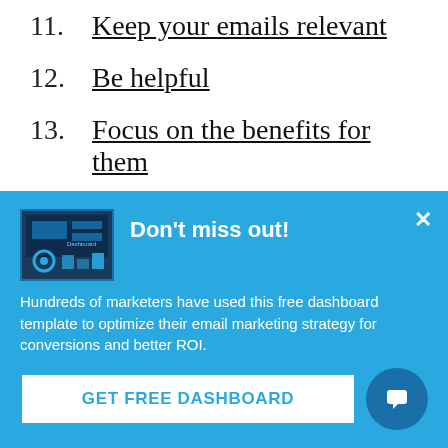11. Keep your emails relevant
12. Be helpful
13. Focus on the benefits for them
14. Provide a quick win
[Figure (screenshot): Blue popup/banner with title 'Don't miss out!', a dashboard thumbnail image, descriptive text about free dashboard template for email marketing, a 'GET FREE DASHBOARD' button, and a chat bubble icon.]
Don't miss out!
Hundreds of marketers have used this free dashboard template to optimize their email marketing strategy for conversions and better ROI.
GET FREE DASHBOARD